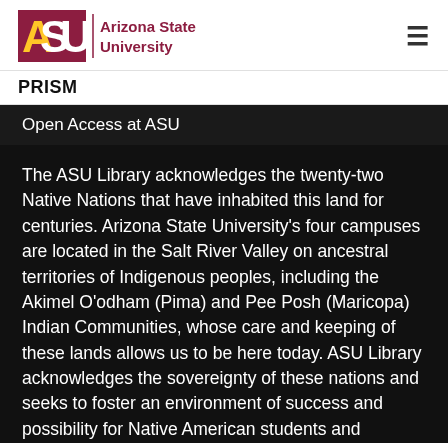[Figure (logo): Arizona State University logo with ASU wordmark in maroon and gold, followed by 'Arizona State University' text in maroon]
PRISM
Open Access at ASU
The ASU Library acknowledges the twenty-two Native Nations that have inhabited this land for centuries. Arizona State University's four campuses are located in the Salt River Valley on ancestral territories of Indigenous peoples, including the Akimel O'odham (Pima) and Pee Posh (Maricopa) Indian Communities, whose care and keeping of these lands allows us to be here today. ASU Library acknowledges the sovereignty of these nations and seeks to foster an environment of success and possibility for Native American students and patrons. We are advocates for the incorporation of Indigenous knowledge systems and research methodologies within contemporary library